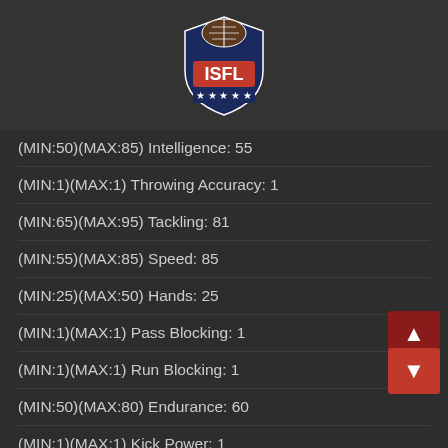[Figure (logo): ISFL football league logo — red shield with football and ISFL text, American flag stars at bottom]
(MIN:50)(MAX:85) Intelligence: 55
(MIN:1)(MAX:1) Throwing Accuracy: 1
(MIN:65)(MAX:95) Tackling: 81
(MIN:55)(MAX:85) Speed: 85
(MIN:25)(MAX:50) Hands: 25
(MIN:1)(MAX:1) Pass Blocking: 1
(MIN:1)(MAX:1) Run Blocking: 1
(MIN:50)(MAX:80) Endurance: 60
(MIN:1)(MAX:1) Kick Power: 1
(MIN:1)(MAX:1) Kick Accuracy: 1
(MIN:40)(MAX:85) Competitiveness: 47